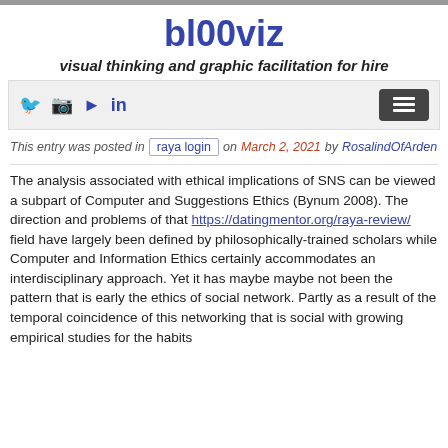bl00viz
visual thinking and graphic facilitation for hire
This entry was posted in raya login on March 2, 2021 by RosalindOfArden
The analysis associated with ethical implications of SNS can be viewed a subpart of Computer and Suggestions Ethics (Bynum 2008). The direction and problems of that https://datingmentor.org/raya-review/ field have largely been defined by philosophically-trained scholars while Computer and Information Ethics certainly accommodates an interdisciplinary approach. Yet it has maybe maybe not been the pattern that is early the ethics of social network. Partly as a result of the temporal coincidence of this networking that is social with growing empirical studies for the habits